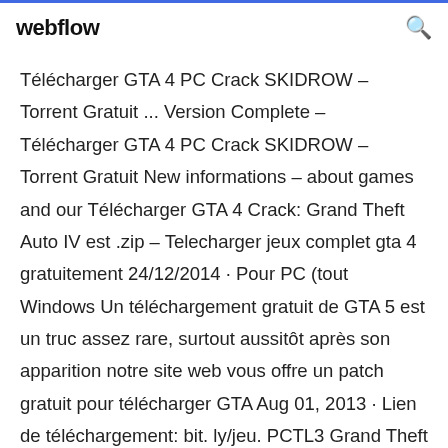webflow
Télécharger GTA 4 PC Crack SKIDROW – Torrent Gratuit ... Version Complete – Télécharger GTA 4 PC Crack SKIDROW – Torrent Gratuit New informations – about games and our Télécharger GTA 4 Crack: Grand Theft Auto IV est .zip – Telecharger jeux complet gta 4 gratuitement 24/12/2014 · Pour PC (tout Windows Un téléchargement gratuit de GTA 5 est un truc assez rare, surtout aussitôt après son apparition notre site web vous offre un patch gratuit pour télécharger GTA Aug 01, 2013 · Lien de téléchargement: bit. ly/jeu. PCTL3 Grand Theft Auto San Andreas jeu PC télécharger gratuit version complete. GTA IV Free Download PC Game Full Version 13 Oct